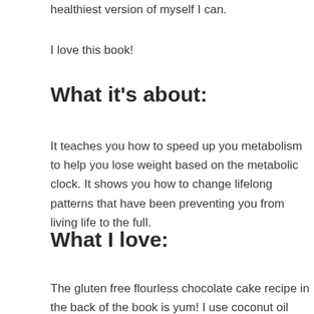healthiest version of myself I can.
I love this book!
What it's about:
It teaches you how to speed up you metabolism to help you lose weight based on the metabolic clock. It shows you how to change lifelong patterns that have been preventing you from living life to the full.
What I love:
The gluten free flourless chocolate cake recipe in the back of the book is yum! I use coconut oil instead of butter to make it dairy free too and it turns out great. It